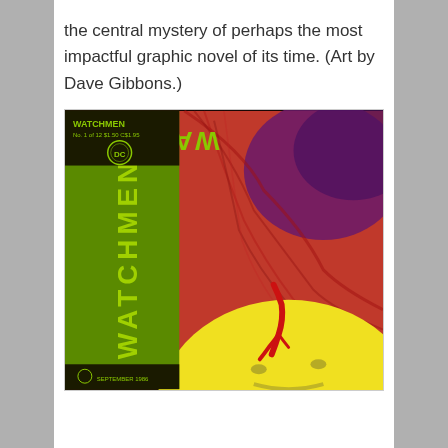the central mystery of perhaps the most impactful graphic novel of its time. (Art by Dave Gibbons.)
[Figure (illustration): Cover of Watchmen No. 1, illustrated by Dave Gibbons. Features the iconic yellow smiley face button with a blood splatter on it, set against a swirling red and purple background. A green vertical banner on the left side reads 'WATCHMEN' in large letters, with the DC comics logo and issue details at the top left. The bottom of the cover shows 'SEPTEMBER 1986'.]